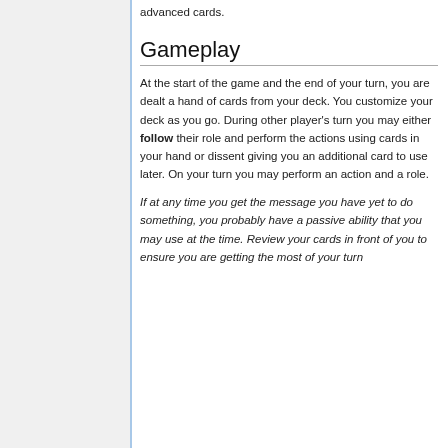advanced cards.
Gameplay
At the start of the game and the end of your turn, you are dealt a hand of cards from your deck. You customize your deck as you go. During other player's turn you may either follow their role and perform the actions using cards in your hand or dissent giving you an additional card to use later. On your turn you may perform an action and a role.
If at any time you get the message you have yet to do something, you probably have a passive ability that you may use at the time. Review your cards in front of you to ensure you are getting the most of your turn